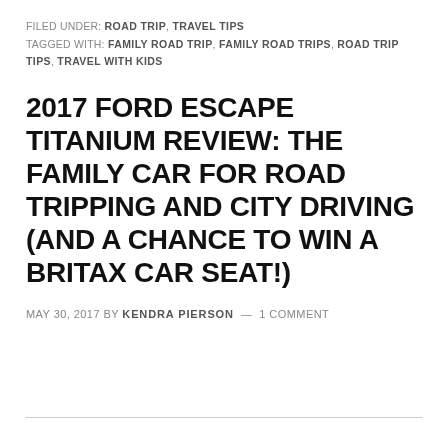FILED UNDER: ROAD TRIP, TRAVEL TIPS
TAGGED WITH: FAMILY ROAD TRIP, FAMILY ROAD TRIPS, ROAD TRIP TIPS, TRAVEL WITH KIDS
2017 FORD ESCAPE TITANIUM REVIEW: THE FAMILY CAR FOR ROAD TRIPPING AND CITY DRIVING (AND A CHANCE TO WIN A BRITAX CAR SEAT!)
MAY 30, 2017 BY KENDRA PIERSON — 1 COMMENT